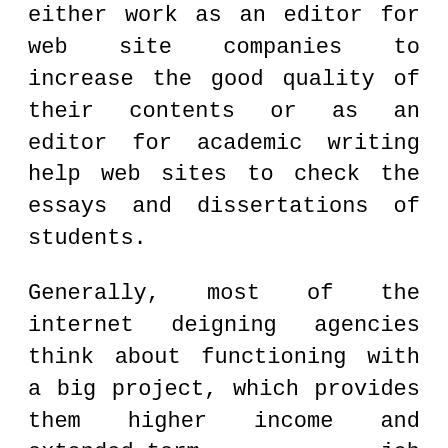either work as an editor for web site companies to increase the good quality of their contents or as an editor for academic writing help web sites to check the essays and dissertations of students.
Generally, most of the internet deigning agencies think about functioning with a big project, which provides them higher income and extended-term job opportunity, whereas, the freelancer net designers are